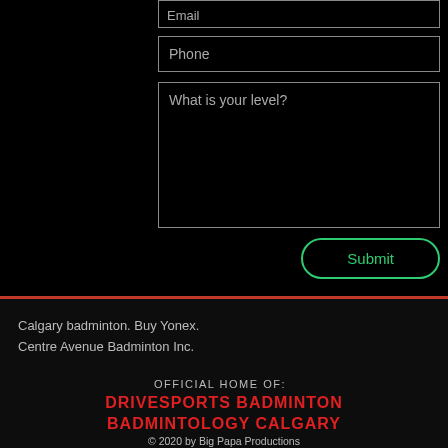[Figure (screenshot): Partially visible email input field at the top of the page, with a grey border on black background]
Phone
What is your level?
Submit
Calgary badminton. Buy Yonex.
Centre Avenue Badminton Inc.
OFFICIAL HOME OF:
DRIVESPORTS BADMINTON
BADMINTOLOGY CALGARY
© 2020 by Big Papa Productions